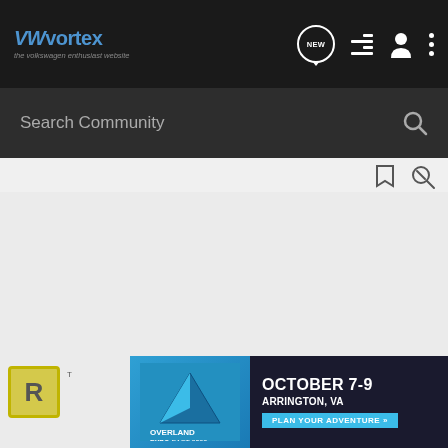VWvortex — the volkswagen enthusiast website — navigation bar with Search Community, NEW, list, user, and menu icons
[Figure (screenshot): VWvortex website header with logo, search bar, and navigation icons on dark background]
[Figure (infographic): Overland Expo East 2022 banner ad — October 7-9, Arrington, VA — Plan Your Adventure]
R